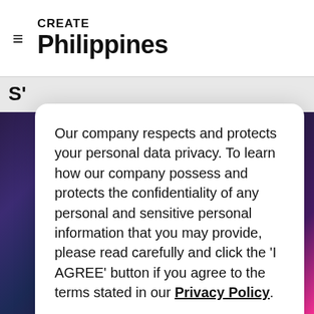CREATE Philippines
S'
Our company respects and protects your personal data privacy. To learn how our company possess and protects the confidentiality of any personal and sensitive personal information that you may provide, please read carefully and click the 'I AGREE' button if you agree to the terms stated in our Privacy Policy.
I AGREE